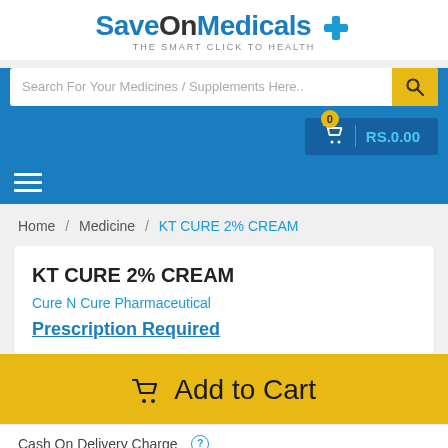[Figure (logo): SaveOnMedicals logo with blue cross icon and tagline 'THE SMART CLICK TO HEALTH']
Search For Your Medicines / Supplements Here..
0  RS.0.00
≡ (hamburger menu icon)
Home / Medicine / KT CURE 2% CREAM
KT CURE 2% CREAM
Cure N Cure Pharmaceutical
Prescription Required
🛒 Add to Cart
Cash On Delivery Charge ?